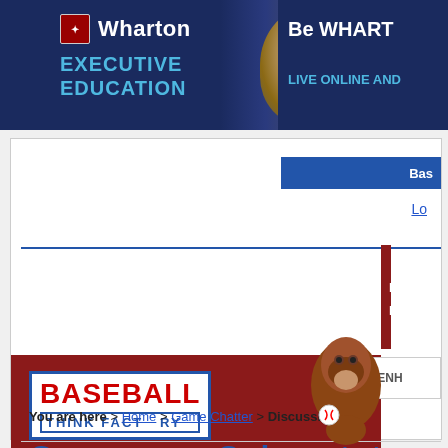[Figure (screenshot): Wharton Executive Education banner advertisement with logo, person photo, and text 'Be WHARTON... LIVE ONLINE AND...']
[Figure (logo): Baseball Think Factory website logo with gorilla mascot and navigation bar showing Home and Blogpen links]
You are here > Home > Game Chatter > Discussion
Game Chatter
— Where Thinking Fans Discuss Today's Games
Wednesday, May 23, 2012